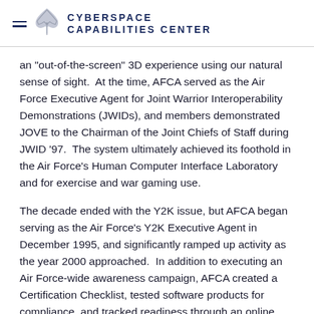CYBERSPACE CAPABILITIES CENTER
an "out-of-the-screen" 3D experience using our natural sense of sight.  At the time, AFCA served as the Air Force Executive Agent for Joint Warrior Interoperability Demonstrations (JWIDs), and members demonstrated JOVE to the Chairman of the Joint Chiefs of Staff during JWID '97.  The system ultimately achieved its foothold in the Air Force's Human Computer Interface Laboratory and for exercise and war gaming use.
The decade ended with the Y2K issue, but AFCA began serving as the Air Force's Y2K Executive Agent in December 1995, and significantly ramped up activity as the year 2000 approached.  In addition to executing an Air Force-wide awareness campaign, AFCA created a Certification Checklist, tested software products for compliance, and tracked readiness through an online